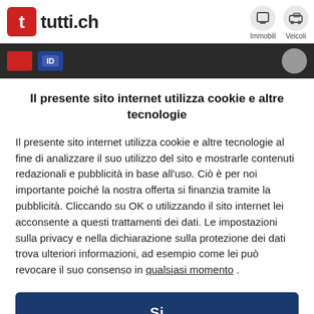tutti.ch | Immobili | Veicoli
Il presente sito internet utilizza cookie e altre tecnologie
Il presente sito internet utilizza cookie e altre tecnologie al fine di analizzare il suo utilizzo del sito e mostrarle contenuti redazionali e pubblicità in base all'uso. Ciò è per noi importante poiché la nostra offerta si finanzia tramite la pubblicità. Cliccando su OK o utilizzando il sito internet lei acconsente a questi trattamenti dei dati. Le impostazioni sulla privacy e nella dichiarazione sulla protezione dei dati trova ulteriori informazioni, ad esempio come lei può revocare il suo consenso in qualsiasi momento .
Si
Ulteriori informazioni